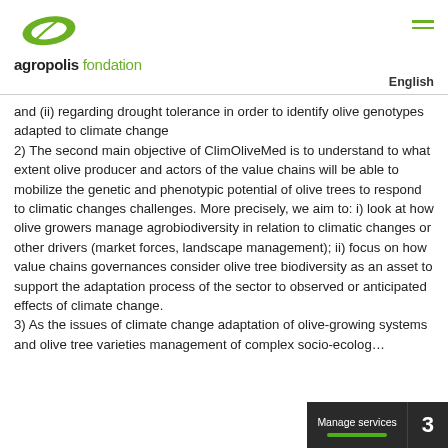agropolis fondation | English
and (ii) regarding drought tolerance in order to identify olive genotypes adapted to climate change
2) The second main objective of ClimOliveMed is to understand to what extent olive producer and actors of the value chains will be able to mobilize the genetic and phenotypic potential of olive trees to respond to climatic changes challenges. More precisely, we aim to: i) look at how olive growers manage agrobiodiversity in relation to climatic changes or other drivers (market forces, landscape management); ii) focus on how value chains governances consider olive tree biodiversity as an asset to support the adaptation process of the sector to observed or anticipated effects of climate change.
3) As the issues of climate change adaptation of olive-growing systems and olive tree varieties management of complex socio-ecolog...